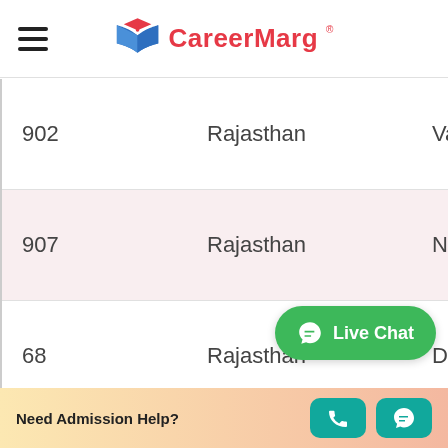CareerMarg
| Number | State | Name (partial) |
| --- | --- | --- |
| 902 | Rajasthan | Varu… |
| 907 | Rajasthan | Niim… |
| 68 | Rajasthan | Dep… |
Live Chat
Need Admission Help?